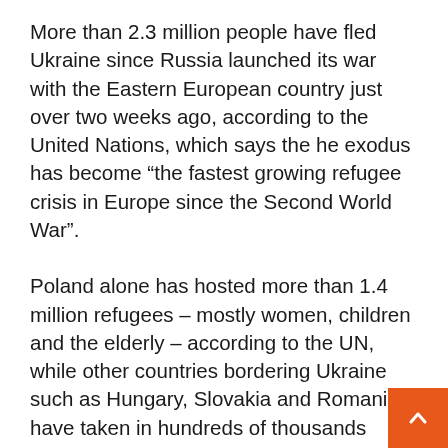More than 2.3 million people have fled Ukraine since Russia launched its war with the Eastern European country just over two weeks ago, according to the United Nations, which says the he exodus has become “the fastest growing refugee crisis in Europe since the Second World War”.
Poland alone has hosted more than 1.4 million refugees – mostly women, children and the elderly – according to the UN, while other countries bordering Ukraine such as Hungary, Slovakia and Romania have taken in hundreds of thousands more.
The UN refugee agency said it has border teams